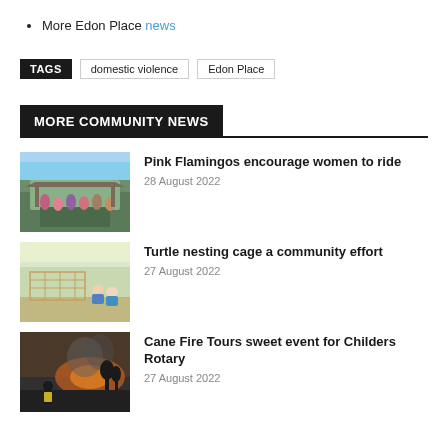More Edon Place news
TAGS  domestic violence  Edon Place
MORE COMMUNITY NEWS
[Figure (photo): Group of women cyclists standing together outdoors near a shelter]
Pink Flamingos encourage women to ride
28 August 2022
[Figure (photo): Two people crouching near a turtle nesting cage structure outdoors]
Turtle nesting cage a community effort
27 August 2022
[Figure (photo): Person standing in front of fire/smoke landscape at dusk]
Cane Fire Tours sweet event for Childers Rotary
27 August 2022